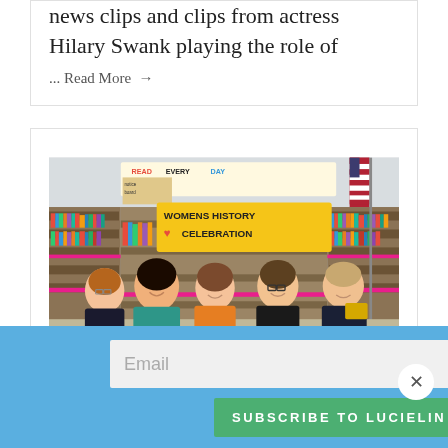news clips and clips from actress Hilary Swank playing the role of
... Read More →
[Figure (photo): Group photo of five people (students and a teacher) standing in front of a 'WOMENS HISTORY CELEBRATION' banner in a school library. Bookshelves and an American flag are visible in the background. A 'READ EVERY DAY' sign is above the banner.]
Email
SUBSCRIBE TO LUCIELIN